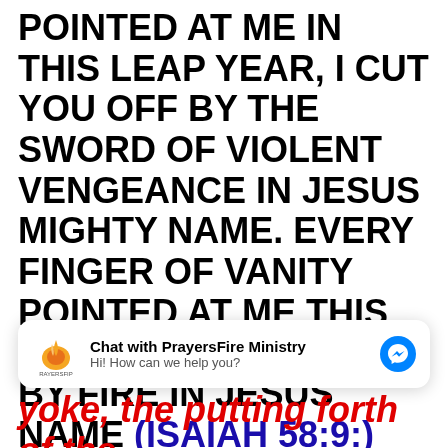FAILURE AND STAGNATION POINTED AT ME IN THIS LEAP YEAR, I CUT YOU OFF BY THE SWORD OF VIOLENT VENGEANCE IN JESUS MIGHTY NAME. EVERY FINGER OF VANITY POINTED AT ME THIS YEAR: I DESTROY YOU BY FIRE IN JESUS NAME (ISAIAH 58:9:) "Then shalt thou call, and the LORD shall answer; thou shalt cry, and he
[Figure (screenshot): Facebook Messenger chat widget for PrayersFire Ministry with logo, title, subtitle 'Hi! How can we help you?' and blue messenger icon]
yoke, the putting forth of the